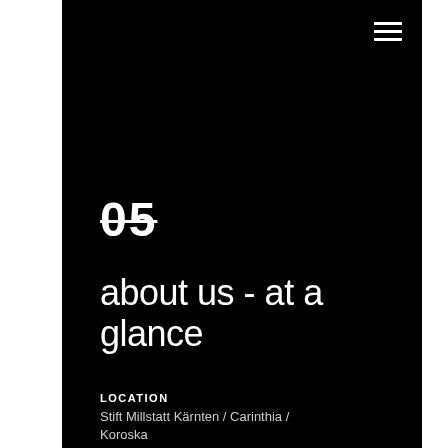05
about us - at a glance
LOCATION
Stift Millstatt Kärnten / Carinthia / Koroska